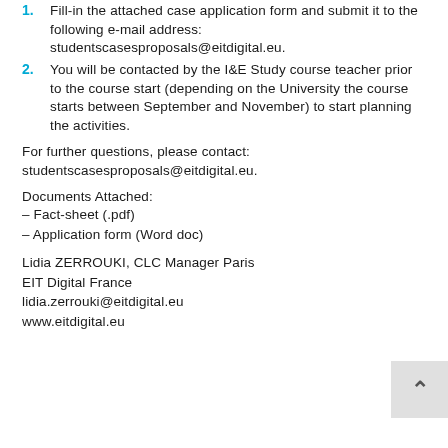1. Fill-in the attached case application form and submit it to the following e-mail address: studentscasesproposals@eitdigital.eu.
2. You will be contacted by the I&E Study course teacher prior to the course start (depending on the University the course starts between September and November) to start planning the activities.
For further questions, please contact: studentscasesproposals@eitdigital.eu.
Documents Attached:
– Fact-sheet (.pdf)
– Application form (Word doc)
Lidia ZERROUKI, CLC Manager Paris
EIT Digital France
lidia.zerrouki@eitdigital.eu
www.eitdigital.eu